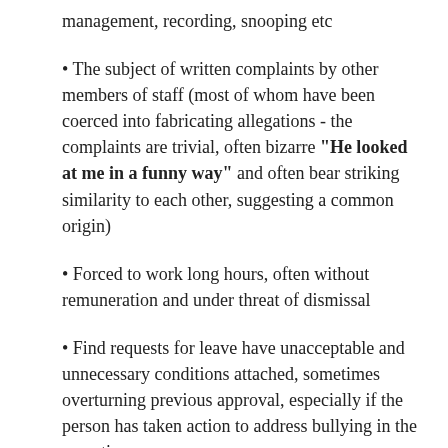management, recording, snooping etc
The subject of written complaints by other members of staff (most of whom have been coerced into fabricating allegations - the complaints are trivial, often bizarre "He looked at me in a funny way" and often bear striking similarity to each other, suggesting a common origin)
Forced to work long hours, often without remuneration and under threat of dismissal
Find requests for leave have unacceptable and unnecessary conditions attached, sometimes overturning previous approval, especially if the person has taken action to address bullying in the meantime